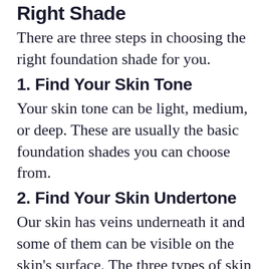Right Shade
There are three steps in choosing the right foundation shade for you.
1. Find Your Skin Tone
Your skin tone can be light, medium, or deep. These are usually the basic foundation shades you can choose from.
2. Find Your Skin Undertone
Our skin has veins underneath it and some of them can be visible on the skin's surface. The three types of skin undertones are warm, neutral, and cool.
You can check your skin undertone